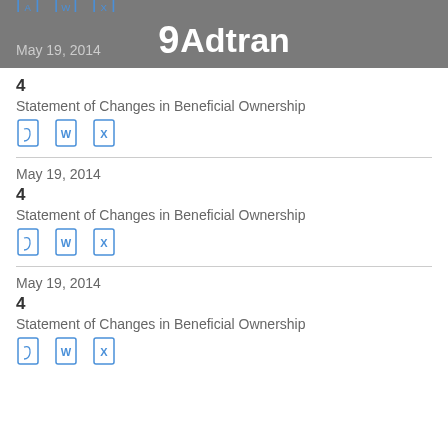Adtran — May 19, 2014
4
Statement of Changes in Beneficial Ownership
May 19, 2014
4
Statement of Changes in Beneficial Ownership
May 19, 2014
4
Statement of Changes in Beneficial Ownership